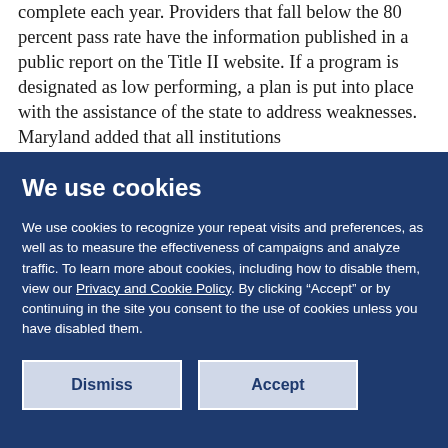complete each year. Providers that fall below the 80 percent pass rate have the information published in a public report on the Title II website. If a program is designated as low performing, a plan is put into place with the assistance of the state to address weaknesses. Maryland added that all institutions
We use cookies
We use cookies to recognize your repeat visits and preferences, as well as to measure the effectiveness of campaigns and analyze traffic. To learn more about cookies, including how to disable them, view our Privacy and Cookie Policy. By clicking "Accept" or by continuing in the site you consent to the use of cookies unless you have disabled them.
Dismiss
Accept